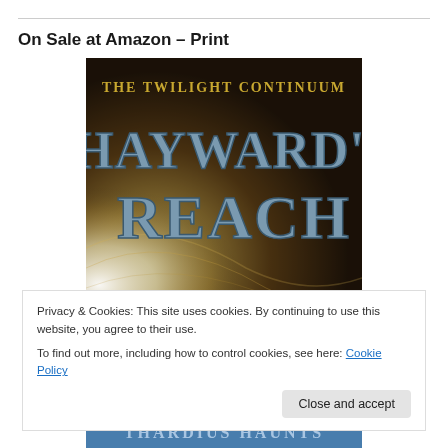On Sale at Amazon – Print
[Figure (illustration): Book cover for 'Hayward's Reach' from The Twilight Continuum series. Dark background with gold/brown swirling cosmic imagery, text in metallic blue-grey stylized font reading 'THE TWILIGHT CONTINUUM' at top and 'HAYWARD'S REACH' in large letters.]
Privacy & Cookies: This site uses cookies. By continuing to use this website, you agree to their use.
To find out more, including how to control cookies, see here: Cookie Policy
[Figure (photo): Partial view of another book cover at the bottom of the page, partially cut off.]